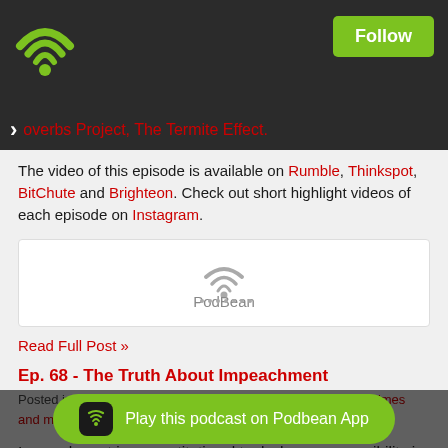[Figure (logo): Podbean app wifi/radio icon in green on dark bar, with Follow button]
overbs Project, The Termite Effect.
The video of this episode is available on Rumble, Thinkspot, BitChute and Brighteon. Check out short highlight videos of each episode on Instagram.
[Figure (other): PodBean embedded podcast player widget]
Read Full Post »
Ep. 68 - The Truth About Impeachment
Posted in , , constitution, supreme court, impeachment, high crimes and misdemeanors on Oct 17th, 2019 💬 Comments
Impeachment is a constitutional tool whose responsibility is granted solely to the House of Representatives. As outlined in the Co...both specific (th...imes and
Play this podcast on Podbean App